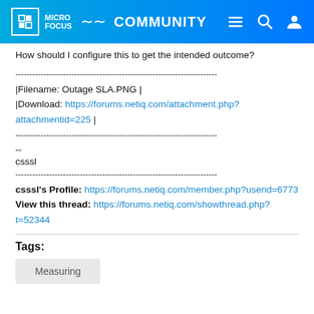Micro Focus Community
How should I configure this to get the intended outcome?
------------------------------------------------------------------------
|Filename: Outage SLA.PNG |
|Download: https://forums.netiq.com/attachment.php?attachmentid=225 |
------------------------------------------------------------------------
--
csssl
------------------------------------------------------------------------
csssl's Profile: https://forums.netiq.com/member.php?userid=6773
View this thread: https://forums.netiq.com/showthread.php?t=52344
Tags:
Measuring